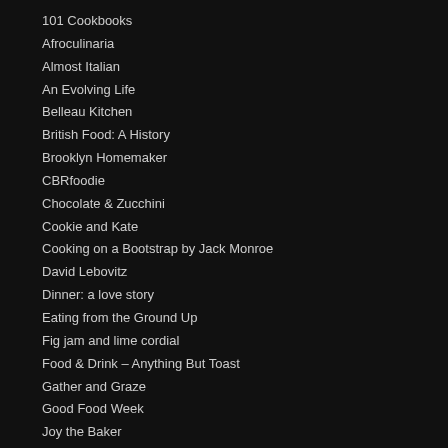101 Cookbooks
Afroculinaria
Almost Italian
An Evolving Life
Belleau Kitchen
British Food: A History
Brooklyn Homemaker
CBRfoodie
Chocolate & Zucchini
Cookie and Kate
Cooking on a Bootstrap by Jack Monroe
David Lebovitz
Dinner: a love story
Eating from the Ground Up
Fig jam and lime cordial
Food & Drink – Anything But Toast
Gather and Graze
Good Food Week
Joy the Baker
Lambs' ears & honey
Lottie & Doof
Make It Bake It Snap It
My Favourite Pastime
Neil Cooks Grigson